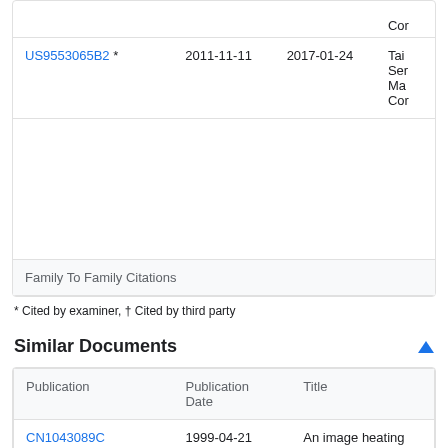| Publication | Publication Date | Date | Title |
| --- | --- | --- | --- |
| US9553065B2 * | 2011-11-11 | 2017-01-24 | Tai Ser Ma Cor |
| Family To Family Citations |
* Cited by examiner, † Cited by third party
Similar Documents
| Publication | Publication Date | Title |
| --- | --- | --- |
| CN1043089C | 1999-04-21 | An image heating apparatus |
| KR100532522B1 | 2005-12-01 | Chuck, Lithographic |